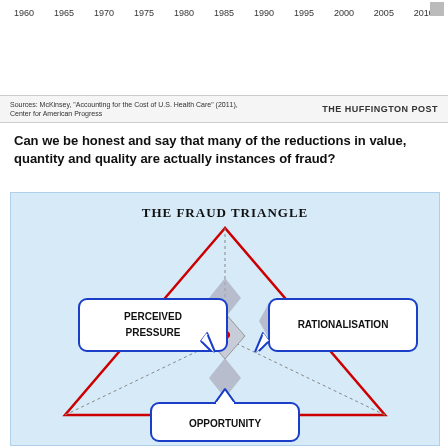[Figure (other): Top portion of a chart showing years 1960 through 2010 on x-axis]
Sources: McKinsey, "Accounting for the Cost of U.S. Health Care" (2011), Center for American Progress    THE HUFFINGTON POST
Can we be honest and say that many of the reductions in value, quantity and quality are actually instances of fraud?
[Figure (infographic): The Fraud Triangle diagram: a large red-outlined triangle with three speech bubbles pointing inward. Left bubble: PERCEIVED PRESSURE. Right bubble: RATIONALISATION. Bottom bubble: OPPORTUNITY. A grey diamond shape with a red question mark sits at the center. Dotted lines divide the triangle into three sections.]